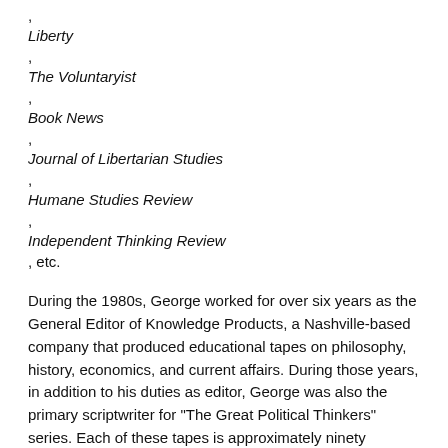, Liberty
, The Voluntaryist
, Book News
, Journal of Libertarian Studies
, Humane Studies Review
, Independent Thinking Review
, etc.
During the 1980s, George worked for over six years as the General Editor of Knowledge Products, a Nashville-based company that produced educational tapes on philosophy, history, economics, and current affairs. During those years, in addition to his duties as editor, George was also the primary scriptwriter for "The Great Political Thinkers" series. Each of these tapes is approximately ninety minutes (around 42 manuscript pages) and discusses a classical text on a level that is appropriate for university students. George wrote several scripts, which were